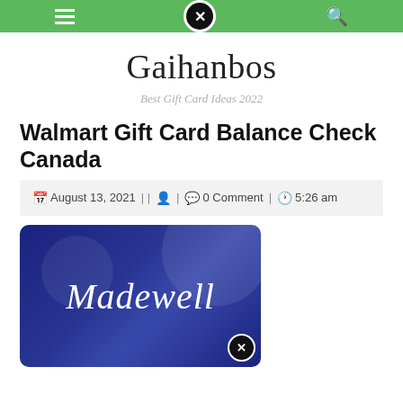Gaihanbos navigation bar
Gaihanbos
Best Gift Card Ideas 2022
Walmart Gift Card Balance Check Canada
August 13, 2021 | | 0 Comment | 5:26 am
[Figure (photo): Madewell navy blue gift card with script logo]